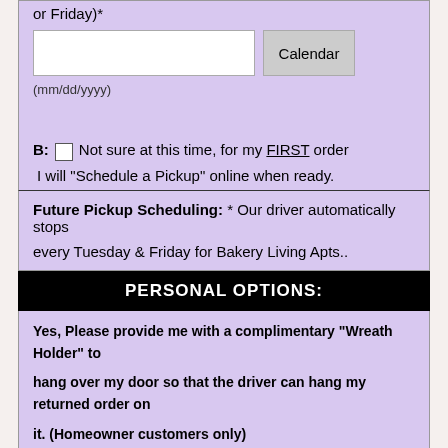or Friday)*
(mm/dd/yyyy)
B: ☐ Not sure at this time, for my FIRST order I will "Schedule a Pickup" online when ready.
Future Pickup Scheduling: * Our driver automatically stops every Tuesday & Friday for Bakery Living Apts..
PERSONAL OPTIONS:
Yes, Please provide me with a complimentary "Wreath Holder" to hang over my door so that the driver can hang my returned order on it. (Homeowner customers only)
Yes  ◉ No